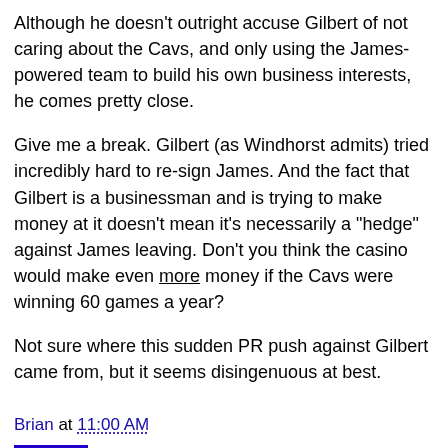Although he doesn't outright accuse Gilbert of not caring about the Cavs, and only using the James-powered team to build his own business interests, he comes pretty close.
Give me a break. Gilbert (as Windhorst admits) tried incredibly hard to re-sign James. And the fact that Gilbert is a businessman and is trying to make money at it doesn't mean it's necessarily a "hedge" against James leaving. Don't you think the casino would make even more money if the Cavs were winning 60 games a year?
Not sure where this sudden PR push against Gilbert came from, but it seems disingenuous at best.
Brian at 11:00 AM
Share